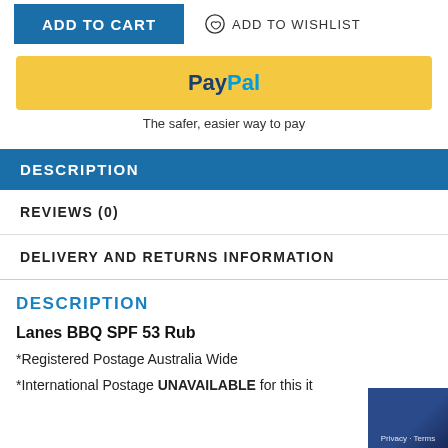[Figure (screenshot): ADD TO CART button (blue) and ADD TO WISHLIST link with heart icon]
[Figure (screenshot): PayPal payment button (yellow) with PayPal logo]
The safer, easier way to pay
DESCRIPTION
REVIEWS (0)
DELIVERY AND RETURNS INFORMATION
DESCRIPTION
Lanes BBQ SPF 53 Rub
*Registered Postage Australia Wide
*International Postage UNAVAILABLE for this it…